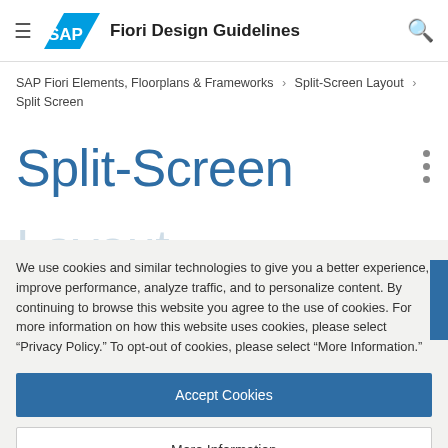SAP Fiori Design Guidelines
SAP Fiori Elements, Floorplans & Frameworks > Split-Screen Layout > Split Screen
Split-Screen Layout
We use cookies and similar technologies to give you a better experience, improve performance, analyze traffic, and to personalize content. By continuing to browse this website you agree to the use of cookies. For more information on how this website uses cookies, please select “Privacy Policy.” To opt-out of cookies, please select “More Information.”
Accept Cookies
More Information
Privacy Policy | Powered by: TrustArc